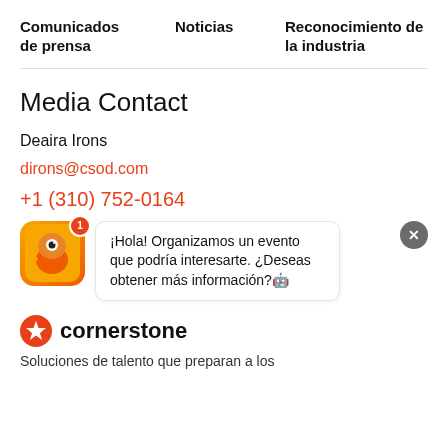Comunicados de prensa   Noticias   Reconocimiento de la industria
Media Contact
Deaira Irons
dirons@csod.com
+1 (310) 752-0164
[Figure (screenshot): Chat widget with orange robot avatar showing badge '1' and speech bubble: '¡Hola! Organizamos un evento que podría interesarte. ¿Deseas obtener más información?🤖' with a close button (X)]
[Figure (logo): Cornerstone logo: orange circle with white star/compass icon and text 'cornerstone']
Soluciones de talento que preparan a los